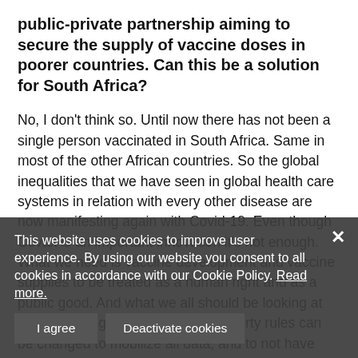public-private partnership aiming to secure the supply of vaccine doses in poorer countries. Can this be a solution for South Africa?
No, I don't think so. Until now there has not been a single person vaccinated in South Africa. Same in most of the other African countries. So the global inequalities that we have seen in global health care systems in relation with every other disease are now manifesting again with Covid-19. Even though Covax is an important innovation it's not enough. What we need is vaccine development and vaccine supplies to be treated as a human right and as a public good. And what we all should be looking at now, is if the global intellectual property rules can be changed to improve user experience. By using our website you consent to all cookies in accordance with our Cookie Policy. Read more. and to not have any intellectual property to get in the way of that. Because what we have also at that development of all vaccines was not financed by private money but by public money. And now
This website uses cookies to improve user experience. By using our website you consent to all cookies in accordance with our Cookie Policy. Read more.